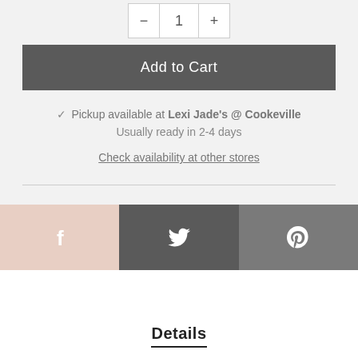[Figure (other): Quantity selector with minus button, number 1, and plus button]
Add to Cart
✓ Pickup available at Lexi Jade's @ Cookeville
Usually ready in 2-4 days
Check availability at other stores
[Figure (other): Social share buttons: Facebook (pink/beige), Twitter (dark gray), Pinterest (gray)]
Details